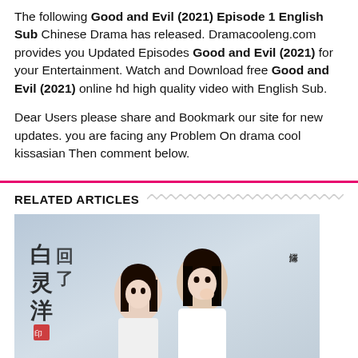The following Good and Evil (2021) Episode 1 English Sub Chinese Drama has released. Dramacooleng.com provides you Updated Episodes Good and Evil (2021) for your Entertainment. Watch and Download free Good and Evil (2021) online hd high quality video with English Sub.
Dear Users please share and Bookmark our site for new updates. you are facing any Problem On drama cool kissasian Then comment below.
RELATED ARTICLES
[Figure (photo): Chinese drama promotional image showing two actors in traditional costume, with Chinese calligraphy text/logo in the upper left corner]